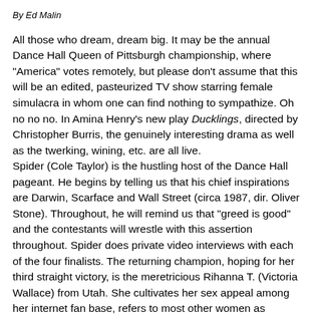By Ed Malin
All those who dream, dream big. It may be the annual Dance Hall Queen of Pittsburgh championship, where "America" votes remotely, but please don't assume that this will be an edited, pasteurized TV show starring female simulacra in whom one can find nothing to sympathize. Oh no no no. In Amina Henry's new play Ducklings, directed by Christopher Burris, the genuinely interesting drama as well as the twerking, wining, etc. are all live.
Spider (Cole Taylor) is the hustling host of the Dance Hall pageant. He begins by telling us that his chief inspirations are Darwin, Scarface and Wall Street (circa 1987, dir. Oliver Stone). Throughout, he will remind us that "greed is good" and the contestants will wrestle with this assertion throughout. Spider does private video interviews with each of the four finalists. The returning champion, hoping for her third straight victory, is the meretricious Rihanna T. (Victoria Wallace) from Utah. She cultivates her sex appeal among her internet fan base, refers to most other women as "bitches" and "haters", and plans to launch her new lip gloss line using her forthcoming prize money. For a long time, she